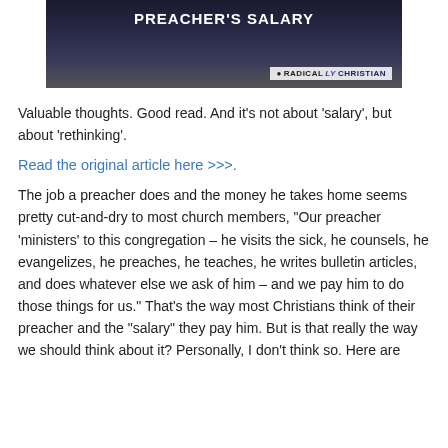[Figure (photo): Dark background image with text overlay reading 'PREACHER'S SALARY' in bold white uppercase letters, with a 'RADICALLY CHRISTIAN' logo/watermark in the bottom right corner. The background shows a blurred audience or congregation scene.]
Valuable thoughts. Good read. And it’s not about ‘salary’, but about ‘rethinking’.
Read the original article here >>>.
The job a preacher does and the money he takes home seems pretty cut-and-dry to most church members, “Our preacher ‘ministers’ to this congregation – he visits the sick, he counsels, he evangelizes, he preaches, he teaches, he writes bulletin articles, and does whatever else we ask of him – and we pay him to do those things for us.” That’s the way most Christians think of their preacher and the “salary” they pay him. But is that really the way we should think about it? Personally, I don’t think so. Here are